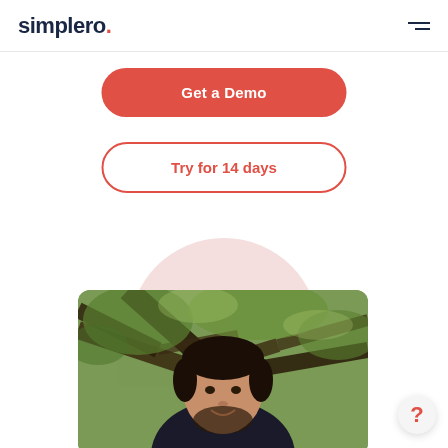simplero.
Get a Demo
Try for 14 days
[Figure (photo): Photo of a young man with dark hair and beard smiling outdoors with tree branches in background]
?